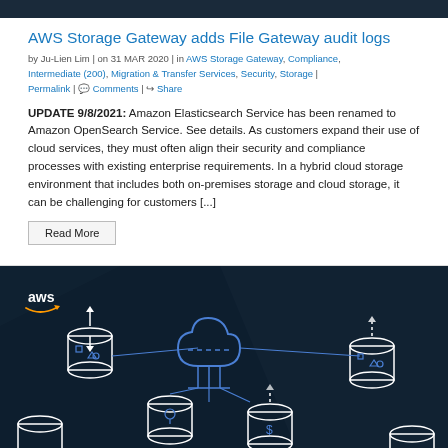AWS Storage Gateway adds File Gateway audit logs
by Ju-Lien Lim | on 31 MAR 2020 | in AWS Storage Gateway, Compliance, Intermediate (200), Migration & Transfer Services, Security, Storage | Permalink | Comments | Share
UPDATE 9/8/2021: Amazon Elasticsearch Service has been renamed to Amazon OpenSearch Service. See details. As customers expand their use of cloud services, they must often align their security and compliance processes with existing enterprise requirements. In a hybrid cloud storage environment that includes both on-premises storage and cloud storage, it can be challenging for customers [...]
Read More
[Figure (illustration): AWS branded dark blue illustration showing cloud storage architecture with S3-style bucket icons connected to a cloud diagram, featuring the AWS logo in the upper left corner]